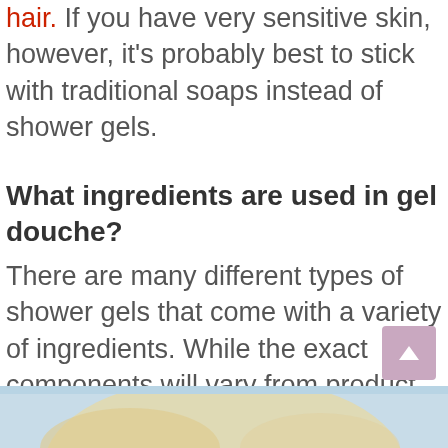hair. If you have very sensitive skin, however, it's probably best to stick with traditional soaps instead of shower gels.
What ingredients are used in gel douche?
There are many different types of shower gels that come with a variety of ingredients. While the exact components will vary from product to product, some of the most common include:
[Figure (photo): Partial photo of a person with blonde hair, visible at the bottom of the page, with a light blue background]